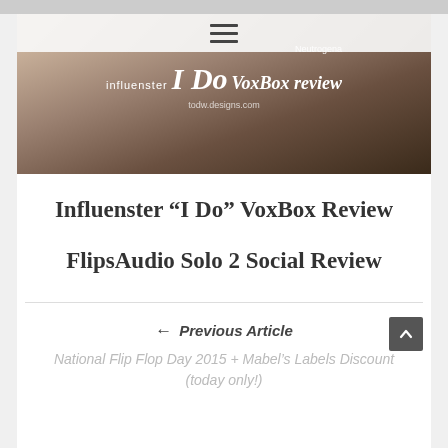[Figure (photo): Hero image for blog showing influenster I Do VoxBox review with products, featuring the text 'influenster I Do VoxBox review' overlaid on a photo of beauty/wedding products including Neutrogena items.]
Influenster “I Do” VoxBox Review
FlipsAudio Solo 2 Social Review
← Previous Article
National Flip Flop Day 2015 + Mabel’s Labels Discount (today only!)